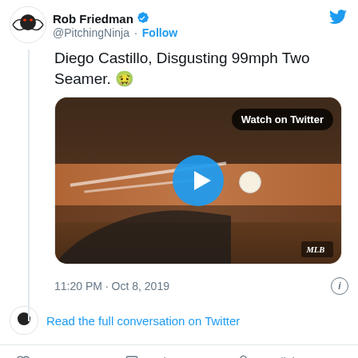@PitchingNinja · Follow
Diego Castillo, Disgusting 99mph Two Seamer. 🤢
[Figure (screenshot): Video thumbnail showing a baseball pitcher's hand gripping a baseball near home plate, with a 'Watch on Twitter' button overlay and a circular blue play button in the center. MLB logo in bottom right.]
11:20 PM · Oct 8, 2019
Read the full conversation on Twitter
3.9K  Reply  Copy link